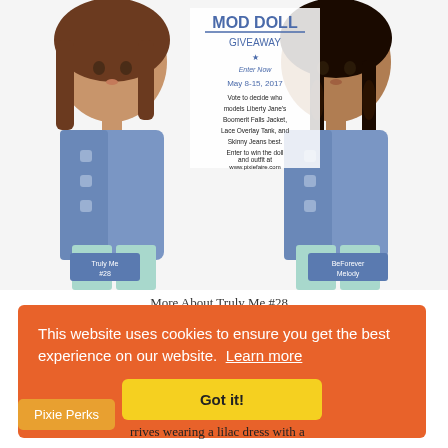[Figure (photo): Two American Girl dolls side by side wearing denim jackets over mint/teal outfits. Left doll labeled 'Truly Me #28', right doll labeled 'BeForever Melody'. Center overlay text reads 'MOD DOLL GIVEAWAY Enter Now May 8-15, 2017. Vote to decide who models Liberty Jane's Boomerit Falls Jacket, Lace Overlay Tank, and Skinny Jeans best. Enter to win the doll and outfit at www.pixiefaire.com']
This website uses cookies to ensure you get the best experience on our website.  Learn more
Got it!
Pixie Perks
rrives wearing a lilac dress with a